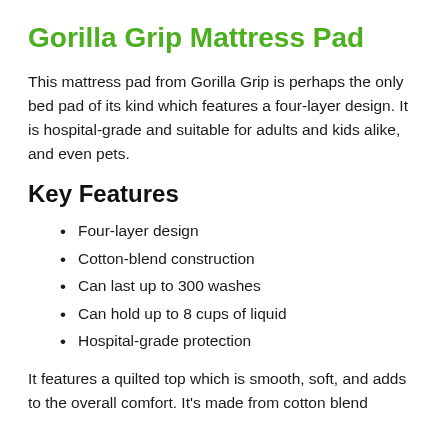Gorilla Grip Mattress Pad
This mattress pad from Gorilla Grip is perhaps the only bed pad of its kind which features a four-layer design. It is hospital-grade and suitable for adults and kids alike, and even pets.
Key Features
Four-layer design
Cotton-blend construction
Can last up to 300 washes
Can hold up to 8 cups of liquid
Hospital-grade protection
It features a quilted top which is smooth, soft, and adds to the overall comfort. It's made from cotton blend